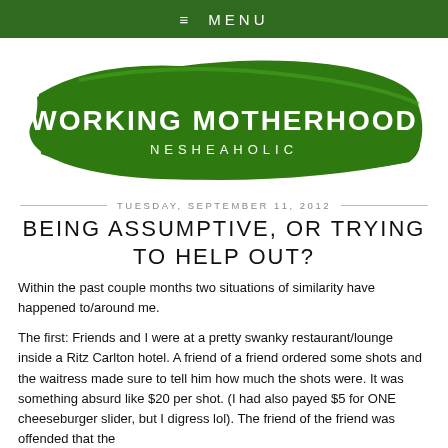≡ MENU
[Figure (logo): Working Motherhood Nesheaholic logo: green brushstroke background with white text reading WORKING MOTHERHOOD and NESHEAHOLIC below]
TUESDAY, SEPTEMBER 11, 2012
BEING ASSUMPTIVE, OR TRYING TO HELP OUT?
Within the past couple months two situations of similarity have happened to/around me.
The first: Friends and I were at a pretty swanky restaurant/lounge inside a Ritz Carlton hotel. A friend of a friend ordered some shots and the waitress made sure to tell him how much the shots were. It was something absurd like $20 per shot. (I had also payed $5 for ONE cheeseburger slider, but I digress lol). The friend of the friend was offended that the